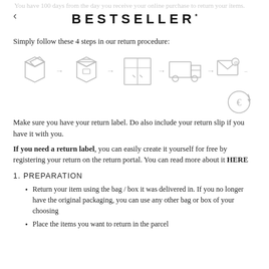BESTSELLER*
You have 100 days from the day you receive your online purchase to return your items.
Simply follow these 4 steps in our return procedure:
[Figure (infographic): A row of 6 icons connected by arrows showing the return process: open box, closed box, door/cabinet, delivery truck, email/envelope with at symbol, euro coin with circular arrow.]
Make sure you have your return label. Do also include your return slip if you have it with you.
If you need a return label, you can easily create it yourself for free by registering your return on the return portal. You can read more about it HERE
1. PREPARATION
Return your item using the bag / box it was delivered in. If you no longer have the original packaging, you can use any other bag or box of your choosing
Place the items you want to return in the parcel